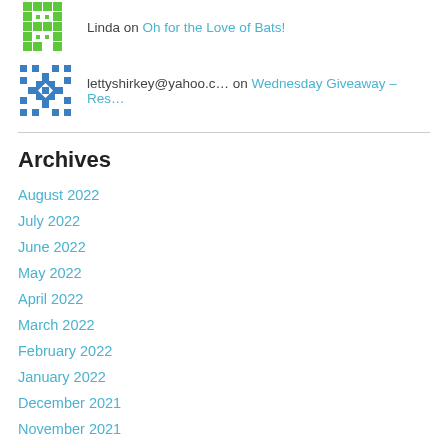Linda on Oh for the Love of Bats!
lettyshirkey@yahoo.c… on Wednesday Giveaway – Res…
Archives
August 2022
July 2022
June 2022
May 2022
April 2022
March 2022
February 2022
January 2022
December 2021
November 2021
October 2021